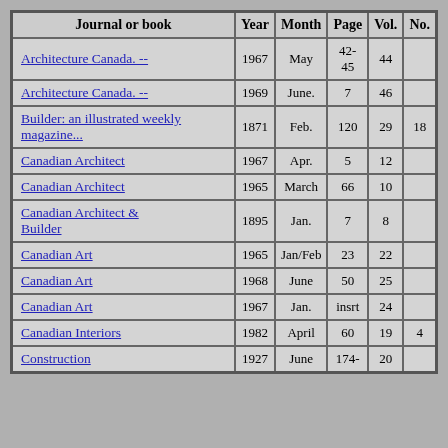| Journal or book | Year | Month | Page | Vol. | No. |
| --- | --- | --- | --- | --- | --- |
| Architecture Canada. -- | 1967 | May | 42-45 | 44 |  |
| Architecture Canada. -- | 1969 | June. | 7 | 46 |  |
| Builder: an illustrated weekly magazine... | 1871 | Feb. | 120 | 29 | 18 |
| Canadian Architect | 1967 | Apr. | 5 | 12 |  |
| Canadian Architect | 1965 | March | 66 | 10 |  |
| Canadian Architect & Builder | 1895 | Jan. | 7 | 8 |  |
| Canadian Art | 1965 | Jan/Feb | 23 | 22 |  |
| Canadian Art | 1968 | June | 50 | 25 |  |
| Canadian Art | 1967 | Jan. | insrt | 24 |  |
| Canadian Interiors | 1982 | April | 60 | 19 | 4 |
| Construction | 1927 | June | 174- | 20 |  |